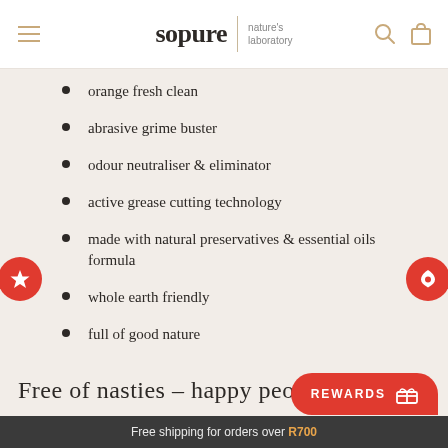sopure | nature's laboratory
orange fresh clean
abrasive grime buster
odour neutraliser & eliminator
active grease cutting technology
made with natural preservatives & essential oils formula
whole earth friendly
full of good nature
Free of nasties – happy people
Free shipping for orders over R700